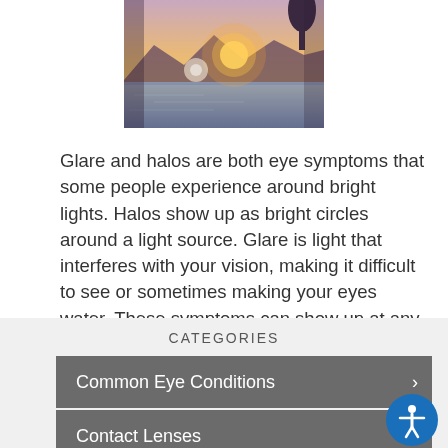[Figure (photo): Sunset or sunrise over a lake/water with mountains and lens flare, warm orange/purple tones]
Glare and halos are both eye symptoms that some people experience around bright lights. Halos show up as bright circles around a light source. Glare is light that interferes with your vision, making it difficult to see or sometimes making your eyes water. These symptoms can show up at any time of the
Read more
CATEGORIES
Common Eye Conditions
Contact Lenses